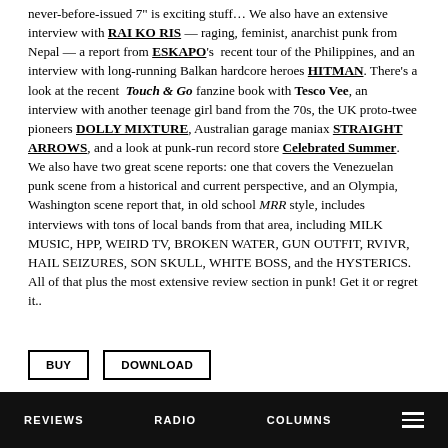never-before-issued 7" is exciting stuff… We also have an extensive interview with RAI KO RIS — raging, feminist, anarchist punk from Nepal — a report from ESKAPO's recent tour of the Philippines, and an interview with long-running Balkan hardcore heroes HITMAN. There's a look at the recent Touch & Go fanzine book with Tesco Vee, an interview with another teenage girl band from the 70s, the UK proto-twee pioneers DOLLY MIXTURE, Australian garage maniax STRAIGHT ARROWS, and a look at punk-run record store Celebrated Summer. We also have two great scene reports: one that covers the Venezuelan punk scene from a historical and current perspective, and an Olympia, Washington scene report that, in old school MRR style, includes interviews with tons of local bands from that area, including MILK MUSIC, HPP, WEIRD TV, BROKEN WATER, GUN OUTFIT, RVIVR, HAIL SEIZURES, SON SKULL, WHITE BOSS, and the HYSTERICS. All of that plus the most extensive review section in punk! Get it or regret it..
BUY   DOWNLOAD
REVIEWS   RADIO   COLUMNS